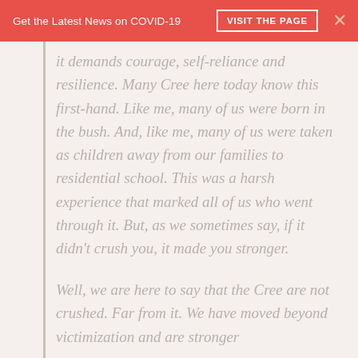Get the Latest News on COVID-19   VISIT THE PAGE   ×
it demands courage, self-reliance and resilience. Many Cree here today know this first-hand. Like me, many of us were born in the bush. And, like me, many of us were taken as children away from our families to residential school. This was a harsh experience that marked all of us who went through it. But, as we sometimes say, if it didn't crush you, it made you stronger.
Well, we are here to say that the Cree are not crushed. Far from it. We have moved beyond victimization and are stronger